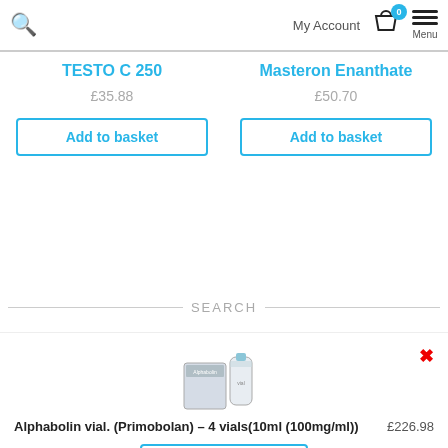My Account  Menu
TESTO C 250
£35.88
Add to basket
Masteron Enanthate
£50.70
Add to basket
SEARCH
[Figure (photo): Product image of Alphabolin vial (Primobolan) showing a vial and box]
Alphabolin vial. (Primobolan) – 4 vials(10ml (100mg/ml))  £226.98
Add to basket